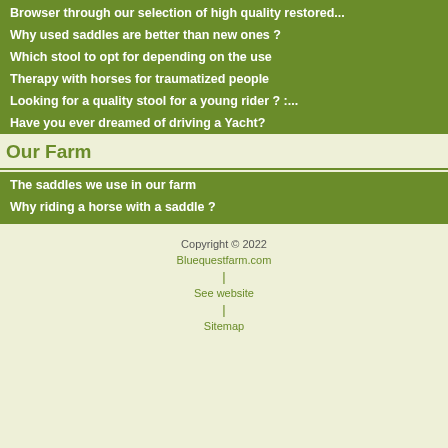Browser through our selection of high quality restored...
Why used saddles are better than new ones ?
Which stool to opt for depending on the use
Therapy with horses for traumatized people
Looking for a quality stool for a young rider ? :...
Have you ever dreamed of driving a Yacht?
Our Farm
The saddles we use in our farm
Why riding a horse with a saddle ?
Copyright © 2022
Bluequestfarm.com
|
See website
|
Sitemap